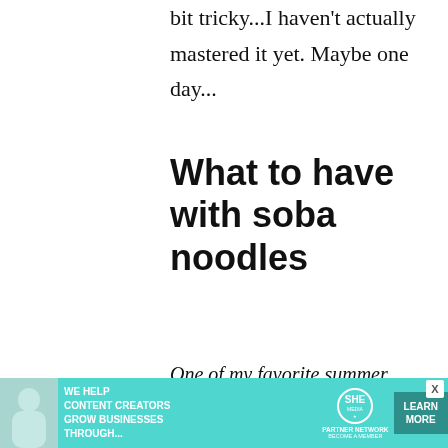bit tricky...I haven't actually mastered it yet. Maybe one day...
What to have with soba noodles
One of my favorite summer meals is cold soba, cold tofu or hiyayakko_, some not-too-salty pickled cucumbers, and ice cold mugicha to drink. Another favorite soba accompaniment is tempura, which
[Figure (photo): Advertisement banner for SHE Media Partner Network with woman and laptop photo, teal background, text: WE HELP CONTENT CREATORS GROW BUSINESSES THROUGH... with SHE logo and LEARN MORE button]